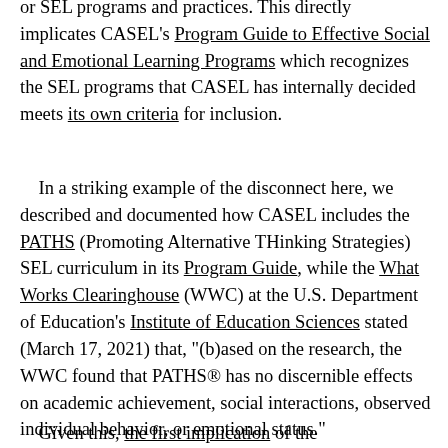or SEL programs and practices. This directly implicates CASEL's Program Guide to Effective Social and Emotional Learning Programs which recognizes the SEL programs that CASEL has internally decided meets its own criteria for inclusion.
In a striking example of the disconnect here, we described and documented how CASEL includes the PATHS (Promoting Alternative THinking Strategies) SEL curriculum in its Program Guide, while the What Works Clearinghouse (WWC) at the U.S. Department of Education's Institute of Education Sciences stated (March 17, 2021) that, "(b)ased on the research, the WWC found that PATHS® has no discernible effects on academic achievement, social interactions, observed individual behavior, or emotional status."
Given this, the first implication of the